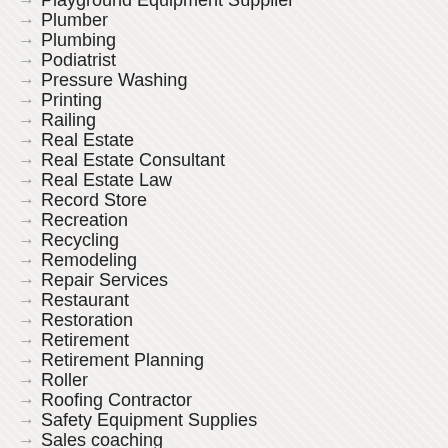Playground Equipment Supplier
Plumber
Plumbing
Podiatrist
Pressure Washing
Printing
Railing
Real Estate
Real Estate Consultant
Real Estate Law
Record Store
Recreation
Recycling
Remodeling
Repair Services
Restaurant
Restoration
Retirement
Retirement Planning
Roller
Roofing Contractor
Safety Equipment Supplies
Sales coaching